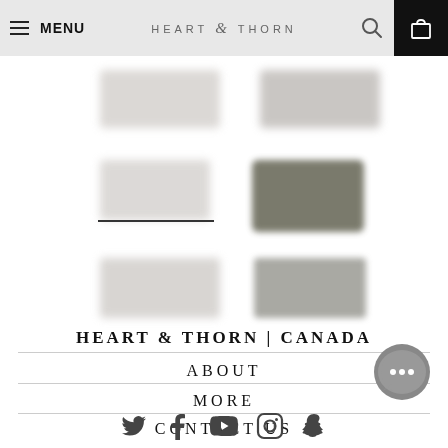MENU | HEART & THORN
[Figure (screenshot): Grid of blurred product thumbnail images for Heart & Thorn online store]
HEART & THORN | CANADA
ABOUT
MORE
CONTACT US
[Figure (illustration): Social media icons: Twitter, Facebook, YouTube, Instagram, Snapchat]
[Figure (illustration): Chat bubble icon with ellipsis (...)]